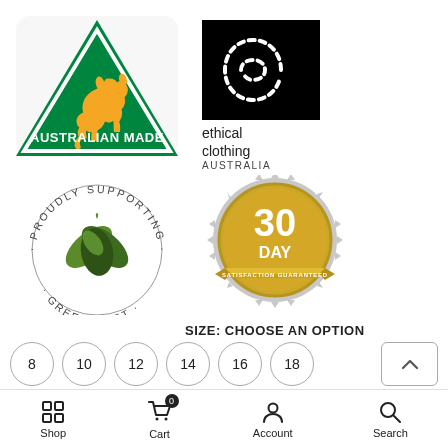[Figure (logo): Australian Made logo — green triangle with golden kangaroo silhouette, text 'AUSTRALIAN MADE' in white below]
[Figure (logo): Ethical Clothing Australia logo — black square with dashed 'e' shape in white, text 'ethical clothing AUSTRALIA' below]
[Figure (logo): Proudly Supporting Greenfleet logo — circular text 'PROUDLY SUPPORTING GREENFLEET' with green ribbon icon in center]
[Figure (logo): 30 Day Satisfaction Guaranteed badge — gold medallion with gear border, text '30 DAY SATISFACTION GUARANTEED']
SIZE: CHOOSE AN OPTION
8
10
12
14
16
18
COLOR: CHOOSE AN OPTION
Shop  Cart 0  Account  Search